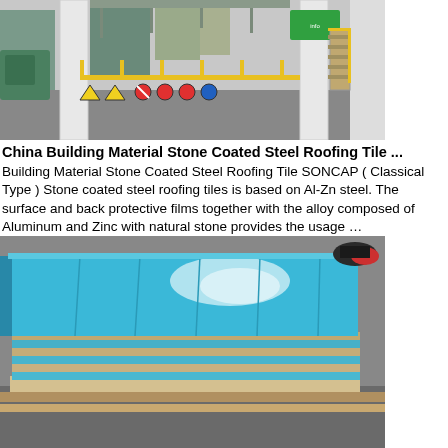[Figure (photo): Industrial factory interior showing steel processing machinery, yellow safety railings, warning signs, large white columns, and overhead structures.]
China Building Material Stone Coated Steel Roofing Tile ...
Building Material Stone Coated Steel Roofing Tile SONCAP ( Classical Type ) Stone coated steel roofing tiles is based on Al-Zn steel. The surface and back protective films together with the alloy composed of Aluminum and Zinc with natural stone provides the usage …
Get Price
[Figure (photo): Stack of light blue/turquoise coated steel sheets or panels arranged in a pile, with a person's feet visible in the upper right corner.]